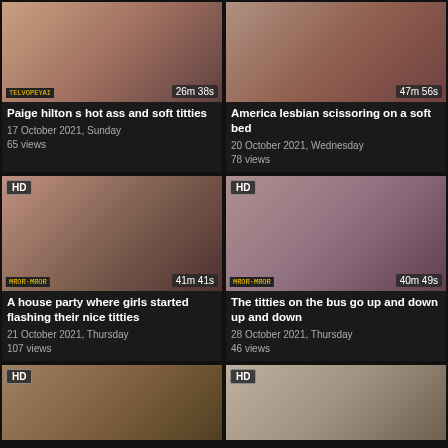[Figure (screenshot): Video thumbnail 1 with duration 26m 38s]
Paige hilton s hot ass and soft titties
17 October 2021, Sunday
65 views
[Figure (screenshot): Video thumbnail 2 with duration 47m 56s]
America lesbian scissoring on a soft bed
20 October 2021, Wednesday
78 views
[Figure (screenshot): Video thumbnail HD with duration 41m 41s]
A house party where girls started flashing their nice titties
21 October 2021, Thursday
107 views
[Figure (screenshot): Video thumbnail HD with duration 40m 49s]
The titties on the bus go up and down up and down
28 October 2021, Thursday
46 views
[Figure (screenshot): Video thumbnail HD bottom left]
[Figure (screenshot): Video thumbnail HD bottom right]